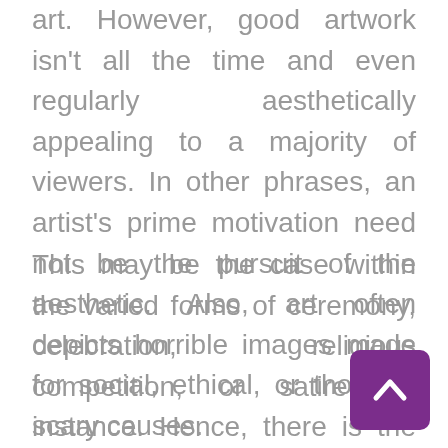art. However, good artwork isn't all the time and even regularly aesthetically appealing to a majority of viewers. In other phrases, an artist's prime motivation need not be the pursuit of the aesthetic. Also, art often depicts horrible images made for social, ethical, or thought-scary causes.
This may be the case within the varied forms of ceremony, celebration, religious competition, or satire for instance. Hence, there is the likelihood that what appears as leisure may also be a method reaching perception or intellectual growth. For for the entertainment firm previously called LIVE Entertainment, see Artisan
[Figure (other): Purple scroll-to-top button with upward chevron arrow, positioned in the bottom-right corner]